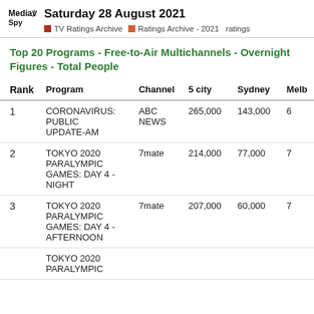Saturday 28 August 2021 | TV Ratings Archive | Ratings Archive - 2021 ratings
Top 20 Programs - Free-to-Air Multichannels - Overnight Figures - Total People
| Rank | Program | Channel | 5 city | Sydney | Melb |
| --- | --- | --- | --- | --- | --- |
| 1 | CORONAVIRUS: PUBLIC UPDATE-AM | ABC NEWS | 265,000 | 143,000 | 6 |
| 2 | TOKYO 2020 PARALYMPIC GAMES: DAY 4 - NIGHT | 7mate | 214,000 | 77,000 | 7 |
| 3 | TOKYO 2020 PARALYMPIC GAMES: DAY 4 - AFTERNOON | 7mate | 207,000 | 60,000 | 7 |
|  | TOKYO 2020 PARALYMPIC |  |  |  |  |